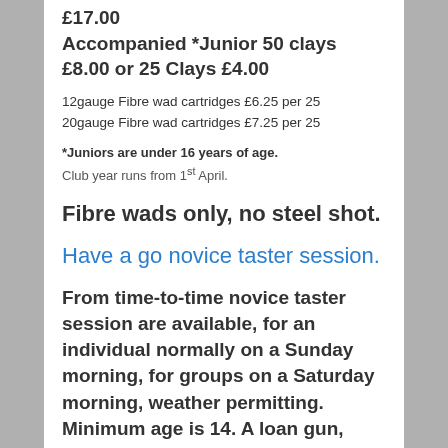£17.00
Accompanied *Junior 50 clays £8.00 or 25 Clays £4.00
12gauge Fibre wad cartridges £6.25 per 25
20gauge Fibre wad cartridges £7.25 per 25
*Juniors are under 16 years of age.
Club year runs from 1st April.
Fibre wads only, no steel shot.
Have a go novice taster session.
From time-to-time novice taster session are available, for an individual normally on a Sunday morning, for groups on a Saturday morning, weather permitting. Minimum age is 14. A loan gun, cartridges and ear protectors will